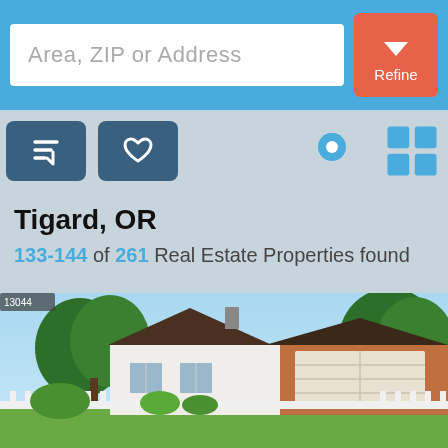Area, ZIP or Address | Refine
[Figure (screenshot): Toolbar with sort, favorites, map pin, and grid view icons on a gray background]
Tigard, OR
133-144 of 261 Real Estate Properties found
[Figure (photo): Exterior photo of a single-story ranch-style home in Tigard, OR with brick facade, two-car garage, white picket fence, and surrounded by trees under a blue sky]